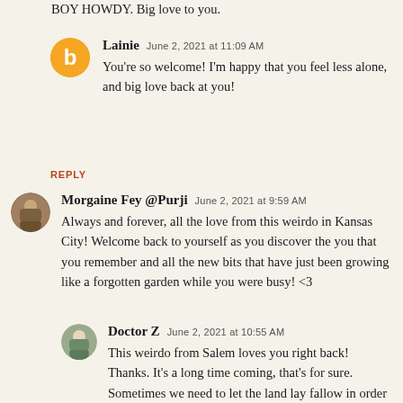BOY HOWDY. Big love to you.
Lainie  June 2, 2021 at 11:09 AM
You're so welcome! I'm happy that you feel less alone, and big love back at you!
REPLY
Morgaine Fey @Purji  June 2, 2021 at 9:59 AM
Always and forever, all the love from this weirdo in Kansas City! Welcome back to yourself as you discover the you that you remember and all the new bits that have just been growing like a forgotten garden while you were busy! <3
Doctor Z  June 2, 2021 at 10:55 AM
This weirdo from Salem loves you right back! Thanks. It's a long time coming, that's for sure. Sometimes we need to let the land lay fallow in order